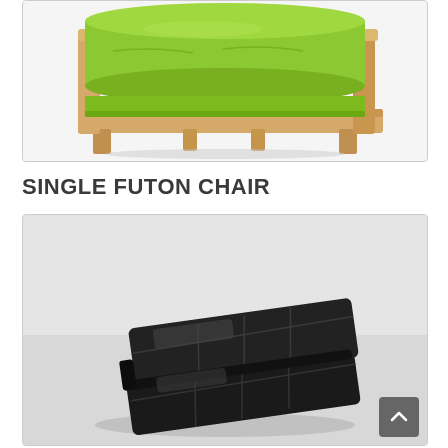[Figure (photo): Photo of a futon sofa/bed with a green lime-colored mattress/cushion rolled on a natural pine wood frame, viewed from a three-quarter angle against a white background.]
SINGLE FUTON CHAIR
[Figure (photo): Photo of a single futon chair in black faux leather/PU upholstery, shown flat/folded, viewed from above at an angle against a light grey background.]